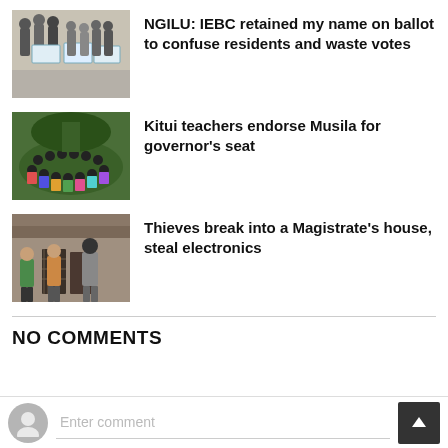[Figure (photo): People holding transparent ballot boxes in a room]
NGILU: IEBC retained my name on ballot to confuse residents and waste votes
[Figure (photo): Large group of people gathered outdoors on grass]
Kitui teachers endorse Musila for governor's seat
[Figure (photo): Two people standing outside a building doorway]
Thieves break into a Magistrate's house, steal electronics
NO COMMENTS